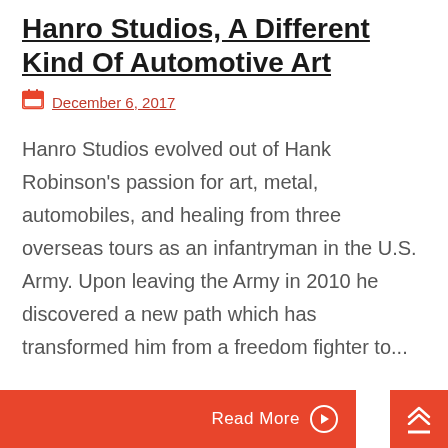Hanro Studios, A Different Kind Of Automotive Art
December 6, 2017
Hanro Studios evolved out of Hank Robinson's passion for art, metal, automobiles, and healing from three overseas tours as an infantryman in the U.S. Army. Upon leaving the Army in 2010 he discovered a new path which has transformed him from a freedom fighter to...
Read More